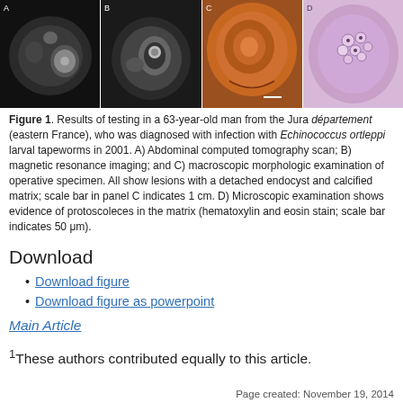[Figure (photo): Four medical imaging panels: A) Abdominal CT scan (grayscale), B) Magnetic resonance imaging (grayscale), C) Macroscopic morphologic examination of operative specimen (orange/brown tissue), D) Microscopic examination showing protoscoleces (hematoxylin and eosin stain, purple/pink).]
Figure 1. Results of testing in a 63-year-old man from the Jura département (eastern France), who was diagnosed with infection with Echinococcus ortleppi larval tapeworms in 2001. A) Abdominal computed tomography scan; B) magnetic resonance imaging; and C) macroscopic morphologic examination of operative specimen. All show lesions with a detached endocyst and calcified matrix; scale bar in panel C indicates 1 cm. D) Microscopic examination shows evidence of protoscoleces in the matrix (hematoxylin and eosin stain; scale bar indicates 50 μm).
Download
Download figure
Download figure as powerpoint
Main Article
1These authors contributed equally to this article.
Page created: November 19, 2014